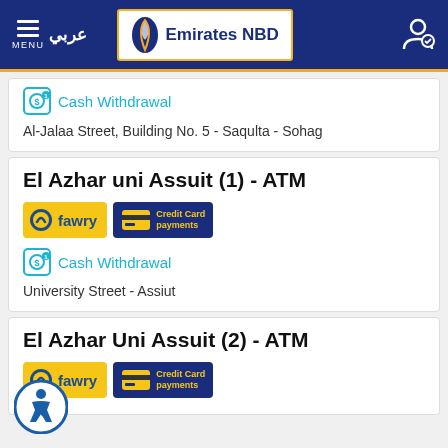Emirates NBD — MENU / عربي / Account icon
[Figure (logo): Cash Withdrawal icon with cyan border]
Cash Withdrawal
Al-Jalaa Street, Building No. 5 - Saqulta - Sohag
El Azhar uni Assuit (1) - ATM
[Figure (logo): Fawry badge and Credit Card payments badge]
[Figure (logo): Cash Withdrawal icon with cyan border]
Cash Withdrawal
University Street - Assiut
El Azhar Uni Assuit (2) - ATM
[Figure (logo): Fawry badge and Credit Card payments badge]
[Figure (illustration): Accessibility icon button (wheelchair symbol in circle)]